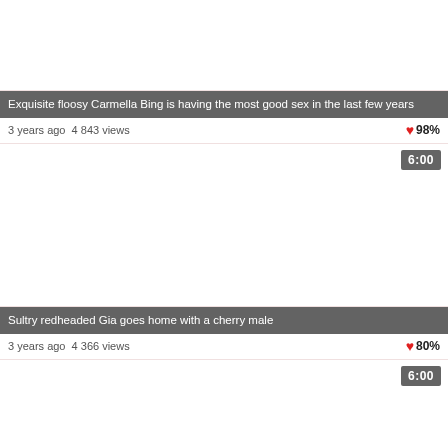[Figure (photo): Video thumbnail placeholder, white background, top card]
Exquisite floosy Carmella Bing is having the most good sex in the last few years
3 years ago  4 843 views  98%
[Figure (photo): Video thumbnail placeholder, white background, second card, duration 6:00]
Sultry redheaded Gia goes home with a cherry male
3 years ago  4 366 views  80%
[Figure (photo): Video thumbnail placeholder, white background, third card, duration 6:00]